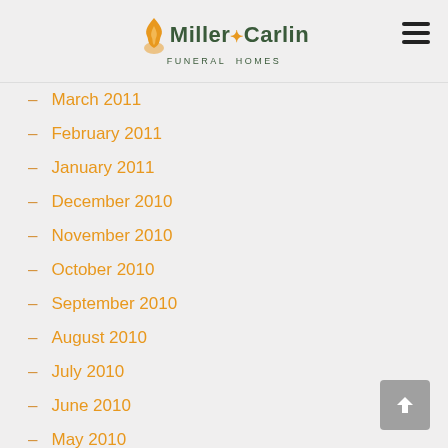Miller-Carlin Funeral Homes
March 2011
February 2011
January 2011
December 2010
November 2010
October 2010
September 2010
August 2010
July 2010
June 2010
May 2010
April 2010
March 2010
February 2010